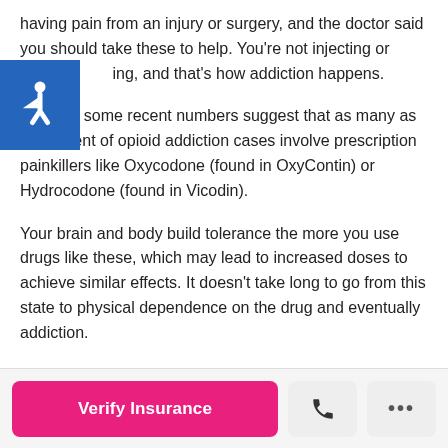having pain from an injury or surgery, and the doctor said you should take these to help. You're not injecting or smoking ing, and that's how addiction happens.
Actually, some recent numbers suggest that as many as 75 percent of opioid addiction cases involve prescription painkillers like Oxycodone (found in OxyContin) or Hydrocodone (found in Vicodin).
Your brain and body build tolerance the more you use drugs like these, which may lead to increased doses to achieve similar effects. It doesn't take long to go from this state to physical dependence on the drug and eventually addiction.
[Figure (other): Accessibility icon — white wheelchair symbol on blue background]
Verify Insurance (button) | Phone icon (button) | More options button (...)